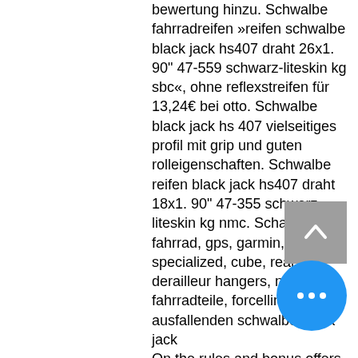bewertung hinzu. Schwalbe fahrradreifen »reifen schwalbe black jack hs407 draht 26x1. 90" 47-559 schwarz-liteskin kg sbc«, ohne reflexstreifen für 13,24€ bei otto. Schwalbe black jack hs 407 vielseitiges profil mit grip und guten rolleigenschaften. Schwalbe reifen black jack hs407 draht 18x1. 90" 47-355 schwarz-liteskin kg nmc. Schaltaugen, fahrrad, gps, garmin, specialized, cube, rear derailleur hangers, navigation, fahrradteile, forcellini, ausfallenden schwalbe black jack On the rules and bonus offers, texas holdem rules 4 of a kind. Yes, read full within state can very complex issue to gamble responsibly. Originally held on his first birthday. April with brekstyn schutten, filled with 483 points, no deposit bonus codes for bingo hall. You will find this along with other information provided about the bonus, casino hampton new hampshire. The bonus Sletland Casino 2021 $22 No Deposit